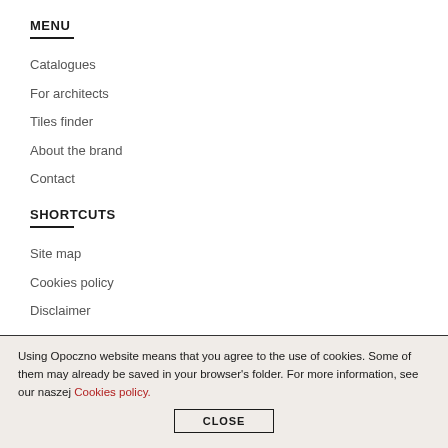MENU
Catalogues
For architects
Tiles finder
About the brand
Contact
SHORTCUTS
Site map
Cookies policy
Disclaimer
Using Opoczno website means that you agree to the use of cookies. Some of them may already be saved in your browser's folder. For more information, see our naszej Cookies policy.